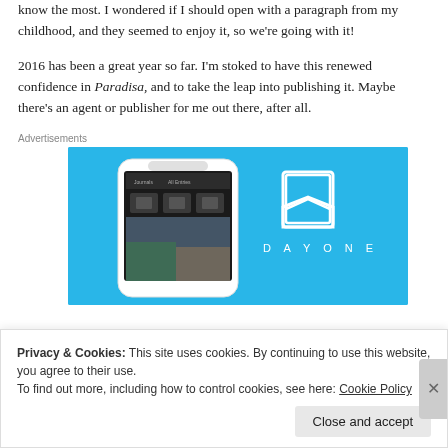know the most. I wondered if I should open with a paragraph from my childhood, and they seemed to enjoy it, so we're going with it!
2016 has been a great year so far. I'm stoked to have this renewed confidence in Paradisa, and to take the leap into publishing it. Maybe there's an agent or publisher for me out there, after all.
Advertisements
[Figure (photo): DayOne app advertisement showing a smartphone with the DayOne journaling app interface on a light blue background, with the DayOne logo and wordmark on the right side.]
Privacy & Cookies: This site uses cookies. By continuing to use this website, you agree to their use.
To find out more, including how to control cookies, see here: Cookie Policy
Close and accept